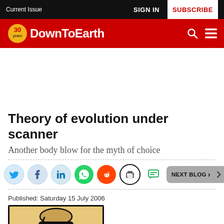Current Issue   SIGN IN   SUBSCRIBE
[Figure (logo): DownToEarth magazine logo with 30 years badge on red background]
Theory of evolution under scanner
Another body blow for the myth of choice
Published: Saturday 15 July 2006
[Figure (illustration): Article illustration showing a partial figure with stethoscope on orange/tan background with black border]